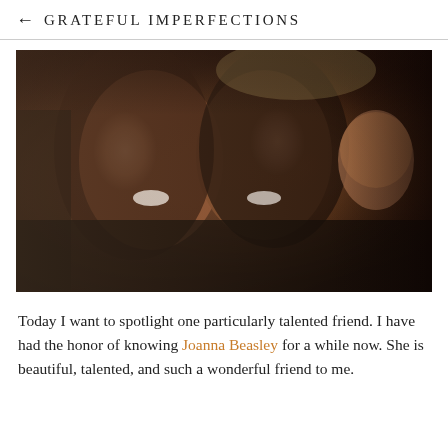← GRATEFUL IMPERFECTIONS
[Figure (photo): Two young women smiling and posing together at what appears to be an indoor social gathering or party. A man making a surprised face is visible in the background on the right. Warm, dim lighting.]
Today I want to spotlight one particularly talented friend. I have had the honor of knowing Joanna Beasley for a while now. She is beautiful, talented, and such a wonderful friend to me.